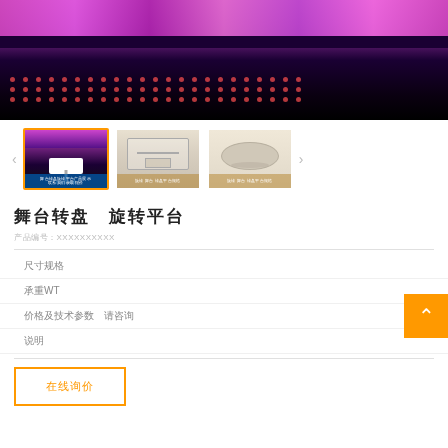[Figure (photo): Main product photo showing a stage with LED lighting effect — purple/pink lights at top, dark background with rows of red LED dots]
[Figure (photo): Thumbnail row with three product thumbnail images: (1) stage with purple lighting, (2) outdoor structure, (3) oval/elliptical shape product]
舞台转盘  旋转平台
产品编号：XXXXXXXXXX
尺寸规格
承重WT
价格及技术参数  请咨询
说明
在线询价